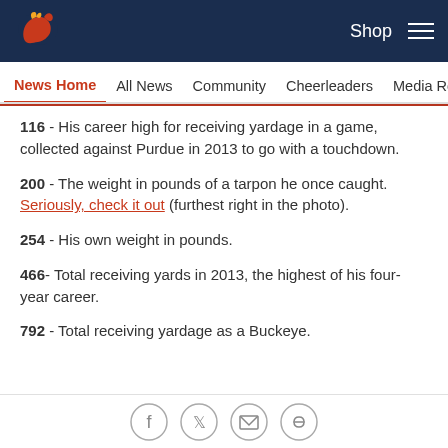Denver Broncos navigation header with logo, Shop link, and hamburger menu
News Home | All News | Community | Cheerleaders | Media Room
116 - His career high for receiving yardage in a game, collected against Purdue in 2013 to go with a touchdown.
200 - The weight in pounds of a tarpon he once caught. Seriously, check it out (furthest right in the photo).
254 - His own weight in pounds.
466- Total receiving yards in 2013, the highest of his four-year career.
792 - Total receiving yardage as a Buckeye.
Social share icons: Facebook, Twitter, Email, Link